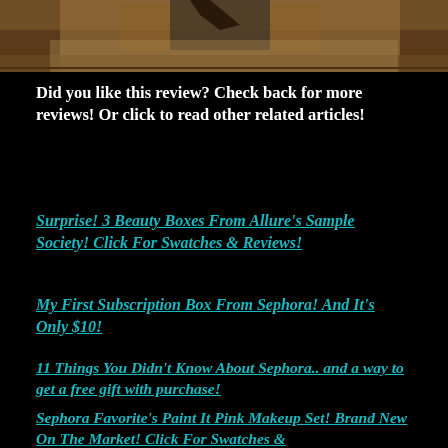[Figure (photo): Partial photo of what appears to be a wooden surface or box, cropped at the top of the page]
Did you like this review?  Check back for more reviews!  Or click to read other related articles!
Surprise! 3 Beauty Boxes From Allure's Sample Society! Click For Swatches & Reviews!
My First Subscription Box From Sephora! And It's Only $10!
11 Things You Didn't Know About Sephora.. and a way to get a free gift with purchase!
Sephora Favorite's Paint It Pink Makeup Set! Brand New On The Market! Click For Swatches &